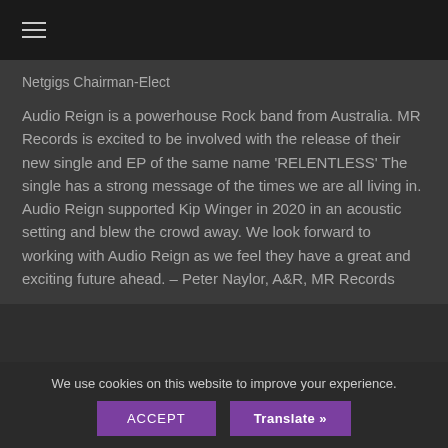≡
Netgigs Chairman-Elect
Audio Reign is a powerhouse Rock band from Australia. MR Records is excited to be involved with the release of their new single and EP of the same name 'RELENTLESS' The single has a strong message of the times we are all living in. Audio Reign supported Kip Winger in 2020 in an acoustic setting and blew the crowd away. We look forward to working with Audio Reign as we feel they have a great and exciting future ahead. – Peter Naylor, A&R, MR Records
We use cookies on this website to improve your experience.
ACCEPT
Translate »